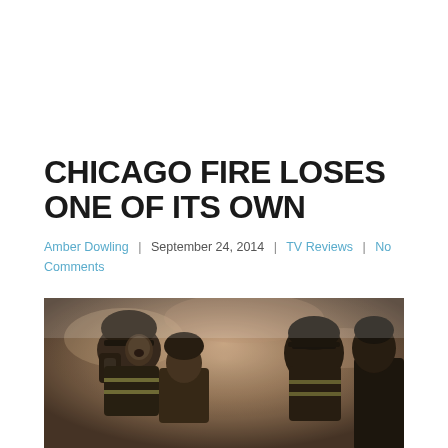CHICAGO FIRE LOSES ONE OF ITS OWN
Amber Dowling | September 24, 2014 | TV Reviews | No Comments
[Figure (photo): Firefighters in full gear including helmets and breathing apparatus, in a smoky scene from the TV show Chicago Fire]